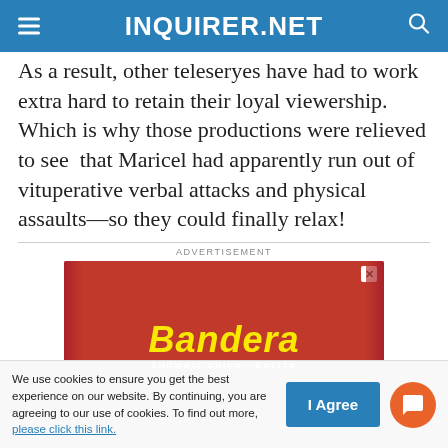INQUIRER.NET
As a result, other teleseryes have had to work extra hard to retain their loyal viewership. Which is why those productions were relieved to see that Maricel had apparently run out of vituperative verbal attacks and physical assaults—so they could finally relax!
ADVERTISEMENT
[Figure (other): Bandera advertisement banner — red background with torn paper edges, Bandera logo in yellow italic text, subtitle 'SHOWBIZ CHIKA + BALITA', smartphone and tablet devices shown at bottom]
We use cookies to ensure you get the best experience on our website. By continuing, you are agreeing to our use of cookies. To find out more, please click this link.